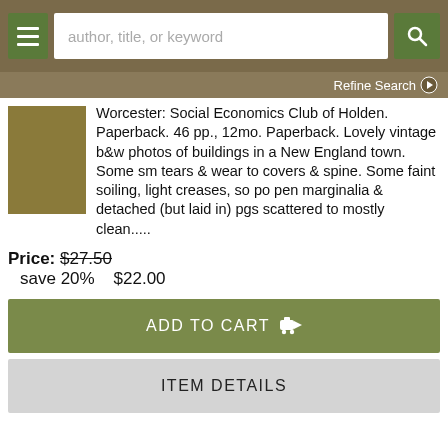author, title, or keyword
Refine Search
[Figure (photo): Small thumbnail of a book with brown/olive colored cover]
Worcester: Social Economics Club of Holden. Paperback. 46 pp., 12mo. Paperback. Lovely vintage b&w photos of buildings in a New England town. Some sm tears & wear to covers & spine. Some faint soiling, light creases, so po pen marginalia & detached (but laid in) pgs scattered to mostly clean.....
Price: $27.50  save 20%  $22.00
ADD TO CART
ITEM DETAILS